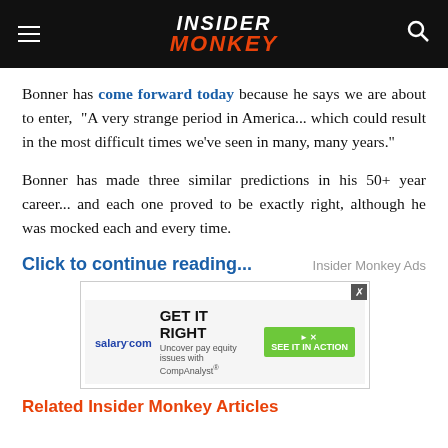INSIDER MONKEY
Bonner has come forward today because he says we are about to enter, “A very strange period in America… which could result in the most difficult times we’ve seen in many, many years.”
Bonner has made three similar predictions in his 50+ year career… and each one proved to be exactly right, although he was mocked each and every time.
Click to continue reading...
[Figure (screenshot): Advertisement banner from salary.com: GET IT RIGHT - Uncover pay equity issues with CompAnalyst. Green 'SEE IT IN ACTION' button.]
Related Insider Monkey Articles